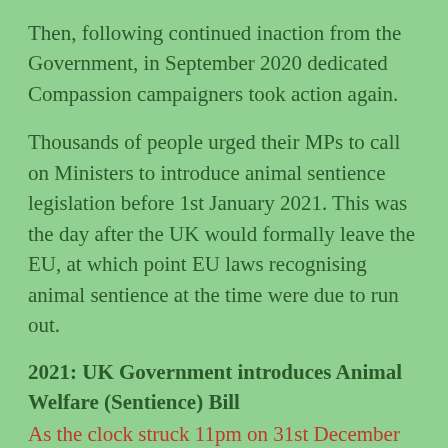Then, following continued inaction from the Government, in September 2020 dedicated Compassion campaigners took action again.
Thousands of people urged their MPs to call on Ministers to introduce animal sentience legislation before 1st January 2021. This was the day after the UK would formally leave the EU, at which point EU laws recognising animal sentience at the time were due to run out.
2021: UK Government introduces Animal Welfare (Sentience) Bill
As the clock struck 11pm on 31st December 2020, despite persistent campaigning, animals in the UK were, for the first time in almost a